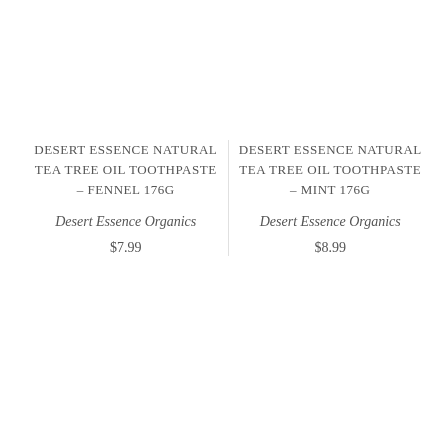DESERT ESSENCE NATURAL TEA TREE OIL TOOTHPASTE – FENNEL 176G
Desert Essence Organics
$7.99
DESERT ESSENCE NATURAL TEA TREE OIL TOOTHPASTE – MINT 176G
Desert Essence Organics
$8.99